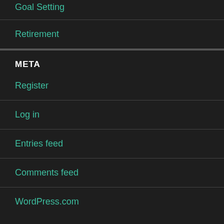Goal Setting
Retirement
META
Register
Log in
Entries feed
Comments feed
WordPress.com